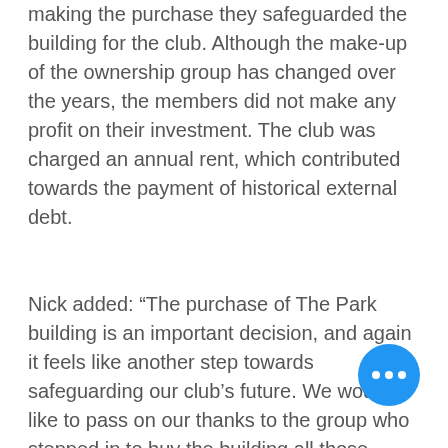making the purchase they safeguarded the building for the club. Although the make-up of the ownership group has changed over the years, the members did not make any profit on their investment. The club was charged an annual rent, which contributed towards the payment of historical external debt.
Nick added: “The purchase of The Park building is an important decision, and again it feels like another step towards safeguarding our club’s future. We would like to pass on our thanks to the group who stepped in to buy the building all those years ago and w… have had no return on their investment… we are extremely grateful